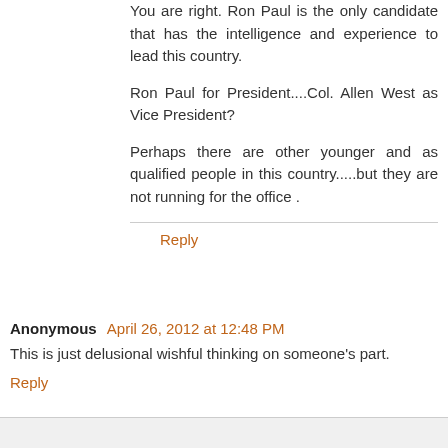You are right. Ron Paul is the only candidate that has the intelligence and experience to lead this country.
Ron Paul for President....Col. Allen West as Vice President?
Perhaps there are other younger and as qualified people in this country.....but they are not running for the office .
Reply
Anonymous April 26, 2012 at 12:48 PM
This is just delusional wishful thinking on someone's part.
Reply
Replies